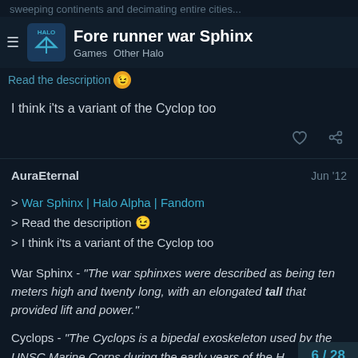sweeping continents and decimating entire cities...
Fore runner war Sphinx | Games  Other Halo
Read the description 😉
I think i'ts a variant of the Cyclop too
AuraEternal — Jun '12
> War Sphinx | Halo Alpha | Fandom
> Read the description 😉
> I think i'ts a variant of the Cyclop too
War Sphinx - "The war sphinxes were described as being ten meters high and twenty long, with an elongated tall that provided lift and power."
Cyclops - "The Cyclops is a bipedal exoskeleton used by the UNSC Marine Corps during the early years of the H
6 / 28